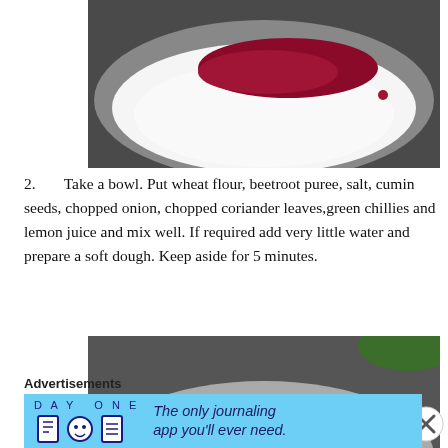[Figure (photo): A steel bowl containing white wheat flour with dark red beetroot puree on top, viewed from above.]
2. Take a bowl. Put wheat flour, beetroot puree, salt, cumin seeds, chopped onion, chopped coriander leaves,green chillies and lemon juice and mix well. If required add very little water and prepare a soft dough. Keep aside for 5 minutes.
[Figure (photo): A steel bowl containing a bright pink/red dough with green herbs mixed in, viewed from above.]
Advertisements
[Figure (screenshot): Day One journaling app advertisement banner with text: 'The only journaling app you'll ever need.']